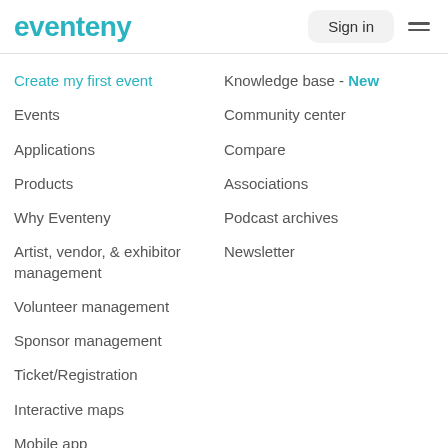eventeny | Sign in
Create my first event
Knowledge base - New
Events
Community center
Applications
Compare
Products
Associations
Why Eventeny
Podcast archives
Artist, vendor, & exhibitor management
Newsletter
Volunteer management
Sponsor management
Ticket/Registration
Interactive maps
Mobile app
Pricing